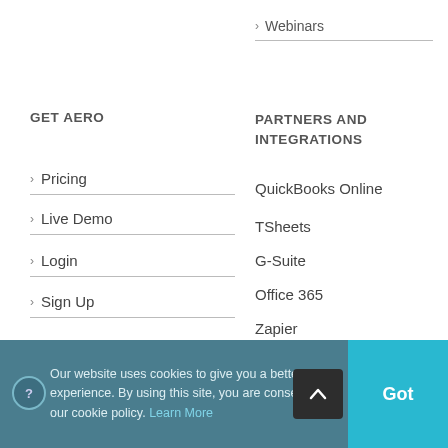> Webinars
GET AERO
PARTNERS AND INTEGRATIONS
> Pricing
> Live Demo
> Login
> Sign Up
QuickBooks Online
TSheets
G-Suite
Office 365
Zapier
Our website uses cookies to give you a better user experience. By using this site, you are consenting to our cookie policy. Learn More